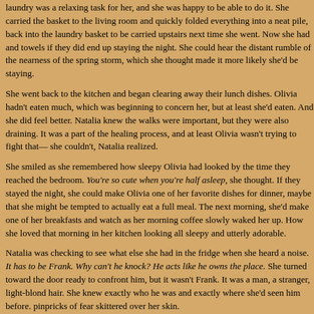laundry was a relaxing task for her, and she was happy to be able to do it. She carried the basket to the living room and quickly folded everything into a neat pile, back into the laundry basket to be carried upstairs next time she went. Now she had and towels if they did end up staying the night. She could hear the distant rumble of the nearness of the spring storm, which she thought made it more likely she'd be staying.
She went back to the kitchen and began clearing away their lunch dishes. Olivia hadn't eaten much, which was beginning to concern her, but at least she'd eaten. And she did feel better. Natalia knew the walks were important, but they were also draining. It was a part of the healing process, and at least Olivia wasn't trying to fight that—she couldn't, Natalia realized.
She smiled as she remembered how sleepy Olivia had looked by the time they reached the bedroom. You're so cute when you're half asleep, she thought. If they stayed the night, she could make Olivia one of her favorite dishes for dinner, maybe that she might be tempted to actually eat a full meal. The next morning, she'd make one of her breakfasts and watch as her morning coffee slowly waked her up. How she loved that morning in her kitchen looking all sleepy and utterly adorable.
Natalia was checking to see what else she had in the fridge when she heard a noise. It has to be Frank. Why can't he knock? He acts like he owns the place. She turned toward the door ready to confront him, but it wasn't Frank. It was a man, a stranger, light-blond hair. She knew exactly who he was and exactly where she'd seen him before. pinpricks of fear skittered over her skin.
******************************
[Warning: The following chapter contains content some may find disturbing, including violence and a threat of sexual violence. If you feel this may be a problem, please read with caution or skip this chapter in its entirety.]